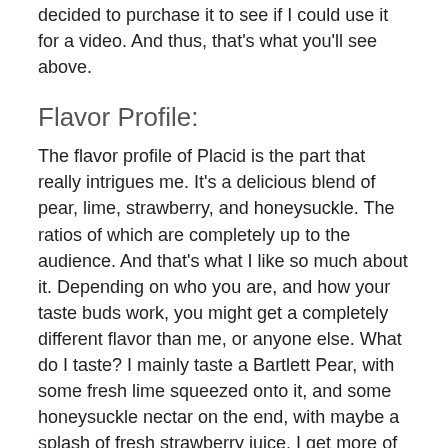decided to purchase it to see if I could use it for a video. And thus, that's what you'll see above.
Flavor Profile:
The flavor profile of Placid is the part that really intrigues me. It's a delicious blend of pear, lime, strawberry, and honeysuckle. The ratios of which are completely up to the audience. And that's what I like so much about it. Depending on who you are, and how your taste buds work, you might get a completely different flavor than me, or anyone else. What do I taste? I mainly taste a Bartlett Pear, with some fresh lime squeezed onto it, and some honeysuckle nectar on the end, with maybe a splash of fresh strawberry juice. I get more of the lime than I do any of the other profiles and to me I feel the recipe is a bit unbalanced. The lime comes in a bit too